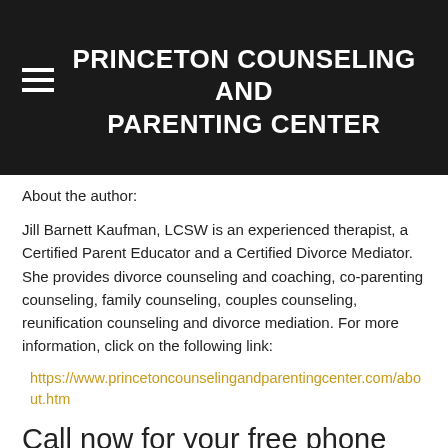PRINCETON COUNSELING AND PARENTING CENTER
About the author:
Jill Barnett Kaufman, LCSW is an experienced therapist, a Certified Parent Educator and a Certified Divorce Mediator. She provides divorce counseling and coaching, co-parenting counseling, family counseling, couples counseling, reunification counseling and divorce mediation. For more information, click on the following link:
https://www.princetoncounselingandparentingcenter.com/about.htm
Call now for your free phone consultation 609-400-2888 or click below for more information